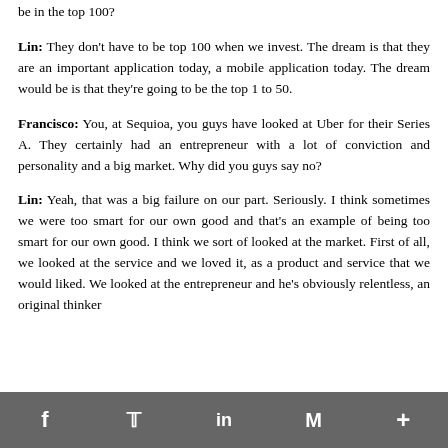be in the top 100?
Lin: They don't have to be top 100 when we invest. The dream is that they are an important application today, a mobile application today. The dream would be is that they're going to be the top 1 to 50.
Francisco: You, at Sequioa, you guys have looked at Uber for their Series A. They certainly had an entrepreneur with a lot of conviction and personality and a big market. Why did you guys say no?
Lin: Yeah, that was a big failure on our part. Seriously. I think sometimes we were too smart for our own good and that's an example of being too smart for our own good. I think we sort of looked at the market. First of all, we looked at the service and we loved it, as a product and service that we would liked. We looked at the entrepreneur and he's obviously relentless, an original thinker
f  t  in  M  +